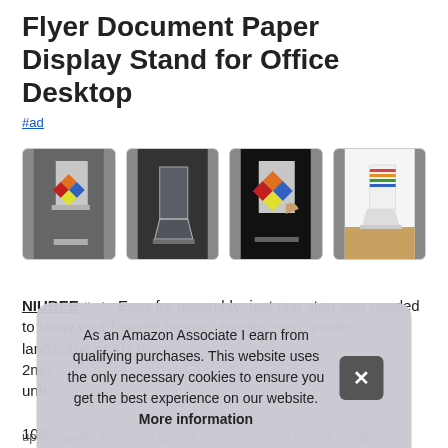Flyer Document Paper Display Stand for Office Desktop
#ad
[Figure (photo): Four product photos of an acrylic document/flyer display stand for office desktop, showing the stand from different angles and in use.]
NIUBEE #ad - Easy for assembly- just one step was needed to show your favorite picture, images, sign, poster, landscape or AD p 2mn unb 100
As an Amazon Associate I earn from qualifying purchases. This website uses the only necessary cookies to ensure you get the best experience on our website. More information